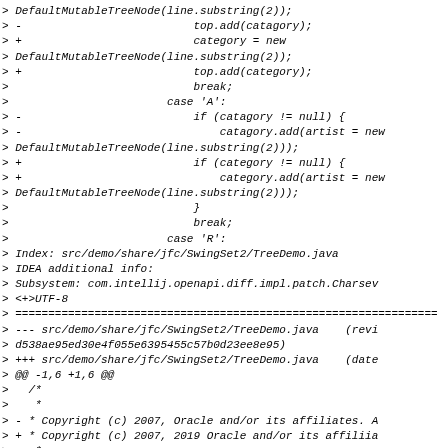Code diff snippet showing changes to DefaultMutableTreeNode and TreeDemo.java